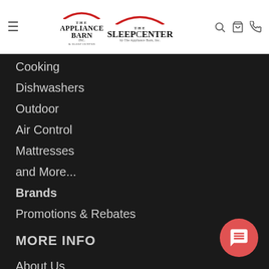[Figure (logo): The Appliance Barn & Sleep Center logo with red arch graphic]
[Figure (logo): The Sleep Center by The Appliance Barn Inc. logo with red arch graphic]
Cooking
Dishwashers
Outdoor
Air Control
Mattresses
and More...
Brands
Promotions & Rebates
MORE INFO
About Us
Contact Us